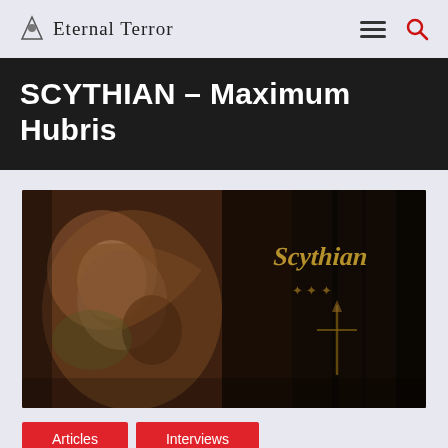Eternal Terror
SCYTHIAN – Maximum Hubris
[Figure (illustration): Album cover artwork for Scythian – Maximum Hubris, featuring dark brown/sepia toned grotesque figure artwork with the band name 'Scythian' written in gold/bronze ornate lettering on the right side against a dark background]
Articles
Interviews